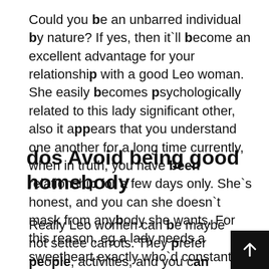Could you be an unbarred individual by nature? If yes, then it`ll become an excellent advantage for your relationship with a good Leo woman. She easily becomes psychologically related to this lady significant other, also it appears that you understand one another for a long time currently, when in truth, you have been relationship for a few days only. She`s honest, and you can she doesn`t mask from anybody she wants. For this reason, eg a lady needs a sweetheart exactly who`d constantly say what he believes.
dos Avoid being good homebody
Really Leo women can be maybe not settee carrots. They prefer people, activities, and you can backyard things. They appreciate travel and yo can do so seem to. Leo ladies prevent guys who